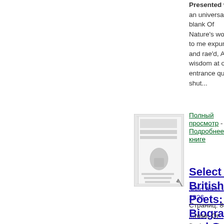Presented w... an universal blank Of Nature's works to me expung' and rae'd, And wisdom at one entrance quite shut...
Полный просмотр - Подробнее о книге
[Figure (photo): Thumbnail image of book cover for Select Works of the British Poets]
Select Works of the British Poets: With Biographical and Critical Prefaces
John Aikin - 1826 - Страниц: 840
...rose, Or flocks, or herds, or human face divine ; But...